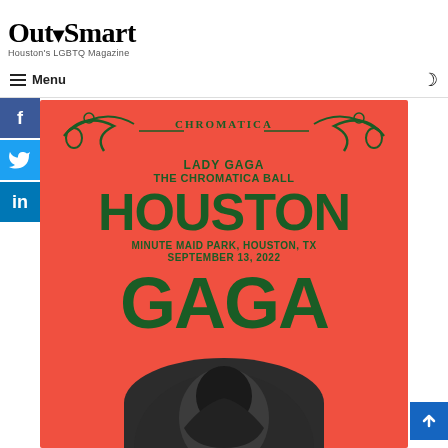OutSmart — Houston's LGBTQ Magazine
Menu
[Figure (photo): Lady Gaga The Chromatica Ball concert poster for Houston, Minute Maid Park, September 13, 2022. Red background with green ornamental lettering. Large text reads HOUSTON and GAGA with a photo of Lady Gaga at the bottom.]
[Figure (infographic): Social media sharing buttons on left sidebar: Facebook (blue), Twitter (light blue), LinkedIn (dark blue)]